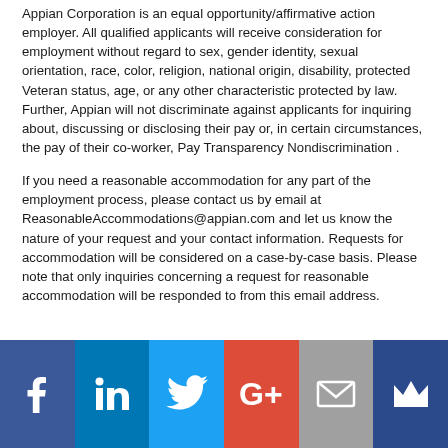Appian Corporation is an equal opportunity/affirmative action employer. All qualified applicants will receive consideration for employment without regard to sex, gender identity, sexual orientation, race, color, religion, national origin, disability, protected Veteran status, age, or any other characteristic protected by law. Further, Appian will not discriminate against applicants for inquiring about, discussing or disclosing their pay or, in certain circumstances, the pay of their co-worker, Pay Transparency Nondiscrimination .
If you need a reasonable accommodation for any part of the employment process, please contact us by email at ReasonableAccommodations@appian.com and let us know the nature of your request and your contact information. Requests for accommodation will be considered on a case-by-case basis. Please note that only inquiries concerning a request for reasonable accommodation will be responded to from this email address.
[Figure (infographic): Social media icon bar with six icons: Facebook (dark blue), LinkedIn (blue), Twitter (light blue), Google+ (red/orange), Email/envelope (grey), Crown (dark blue)]